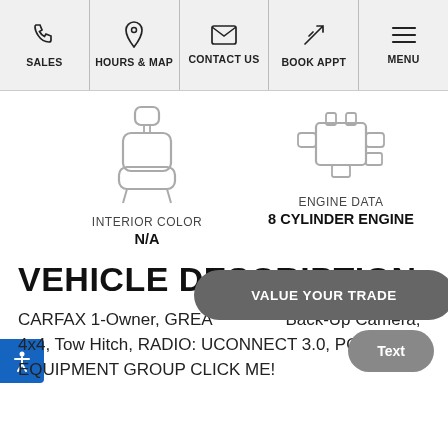SALES | HOURS & MAP | CONTACT US | BOOK APPT | MENU
[Figure (illustration): Car seat icon (interior color) and engine block icon (engine data) side by side]
INTERIOR COLOR
N/A
ENGINE DATA
8 CYLINDER ENGINE
VEHICLE DESCRIPTION
CARFAX 1-Owner, GREA... Back-Up Camera, 4x4, Tow Hitch, RADIO: UCONNECT 3.0, POPULAR EQUIPMENT GROUP CLICK ME!
[Figure (illustration): VALUE YOUR TRADE button overlay and Text button overlay]